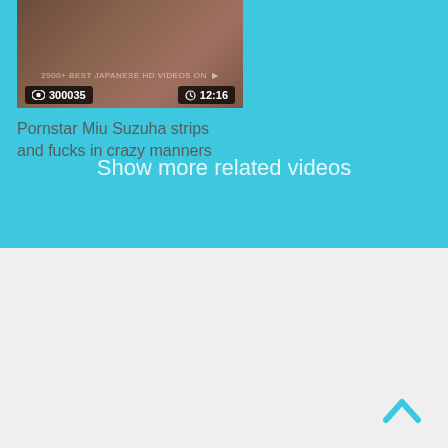[Figure (screenshot): Video thumbnail showing a person, with view count badge '300035' and duration badge '12:16', and watermark text '2900+ BEST JAPANESE HD VIDEOS ON']
Pornstar Miu Suzuha strips and fucks in crazy manners
Show more related videos
[Figure (illustration): Upward chevron / back-to-top arrow icon in cyan/teal color]